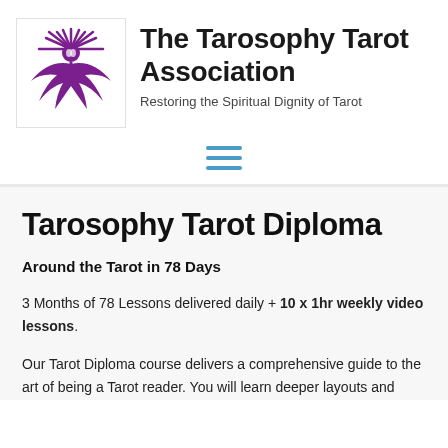[Figure (logo): The Tarosophy Tarot Association logo: a purple stylized figure with wings and a circular face/eye element, radiating lines above]
The Tarosophy Tarot Association
Restoring the Spiritual Dignity of Tarot
[Figure (other): Hamburger menu icon — three horizontal blue lines]
Tarosophy Tarot Diploma
Around the Tarot in 78 Days
3 Months of 78 Lessons delivered daily + 10 x 1hr weekly video lessons.
Our Tarot Diploma course delivers a comprehensive guide to the art of being a Tarot reader. You will learn deeper layouts and